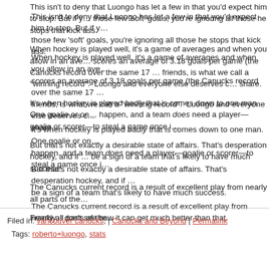This isn't to deny that Luongo has let a few in that you'd expect him to stop. But if you focus on those few 'soft' goals, you're ignoring all those he stops that kick ass.
When hockey is played well, it's a game of averages and when you allow in an average of 2.45 and scores an average of 3.18 goals per game (the Canucks record over the same 17 games), that, friends, is what we call a "winning record". Luongo and everyone else deserves credit for their share.
It's when hockey is played badly that is comes down to one man. One goalie or one scorer can't happen, and a team does need a player—goalie or scorer—to steal a game once in a while.
But that's not exactly a desirable state of affairs. That's desperation hockey, and if anything, it'd be a sign of a team that's likely to have much success.
The Canucks current record is a result of excellent play from nearly all parts of the team.
Frankly, I don't see how it can get much better than that.
Filed in: vancouver canucks, | Canucks and Beyond | Permalink
Tags: roberto+luongo, stats